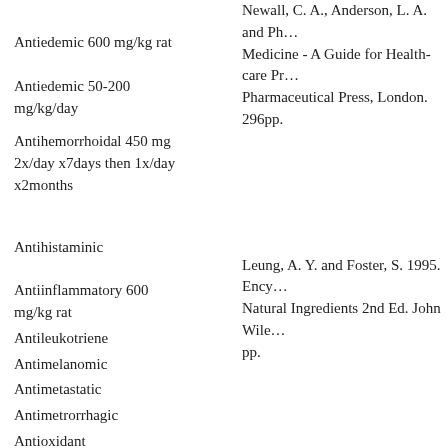Antiedemic 600 mg/kg rat
Newall, C. A., Anderson, L. A. and Phi... Medicine - A Guide for Health-care Pr... Pharmaceutical Press, London. 296pp.
Antiedemic 50-200 mg/kg/day
Antihemorrhoidal 450 mg 2x/day x7days then 1x/day x2months
Leung, A. Y. and Foster, S. 1995. Ency... Natural Ingredients 2nd Ed. John Wiley... pp.
Antihistaminic
Antiinflammatory 600 mg/kg rat
Antileukotriene
Antimelanomic
Antimetastatic
Antimetrorrhagic
Fitoterapia No.55-1984.
Antioxidant
Antiperoxidant
Antiproliferant
Antiprostaglandin
Antiradicular